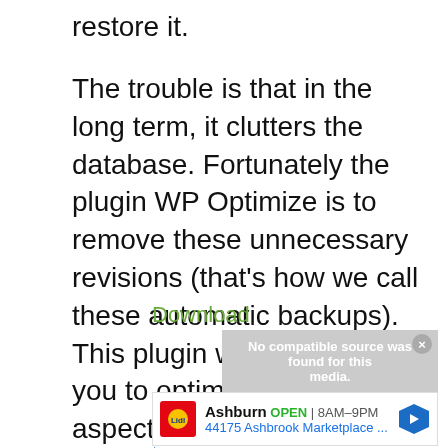restore it.
The trouble is that in the long term, it clutters the database. Fortunately the plugin WP Optimize is to remove these unnecessary revisions (that's how we call these automatic backups). This plugin will also allow you to optimize other aspects of your database to improve your blog performance.
Download
[Figure (screenshot): Video player overlay showing 'No compatible source was found for this media' with a close button]
[Figure (screenshot): Advertisement for Lidl Ashburn store: OPEN 8AM-9PM, 44175 Ashbrook Marketplace ...]